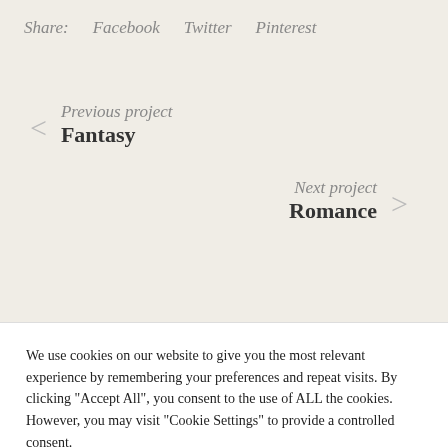Share: Facebook Twitter Pinterest
Previous project
Fantasy
Next project
Romance
We use cookies on our website to give you the most relevant experience by remembering your preferences and repeat visits. By clicking "Accept All", you consent to the use of ALL the cookies. However, you may visit "Cookie Settings" to provide a controlled consent.
Cookie Settings | Accept All